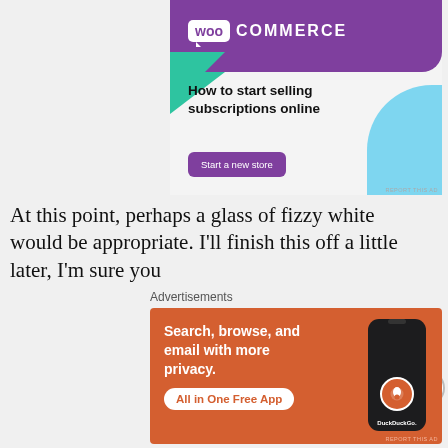[Figure (illustration): WooCommerce advertisement banner with purple header containing WooCommerce logo, green triangle shape, light blue curved shape, headline 'How to start selling subscriptions online', and a purple 'Start a new store' button]
At this point, perhaps a glass of fizzy white would be appropriate. I'll finish this off a little later, I'm sure you
[Figure (illustration): DuckDuckGo advertisement banner with orange background, text 'Search, browse, and email with more privacy. All in One Free App' and a smartphone image with DuckDuckGo logo]
Advertisements